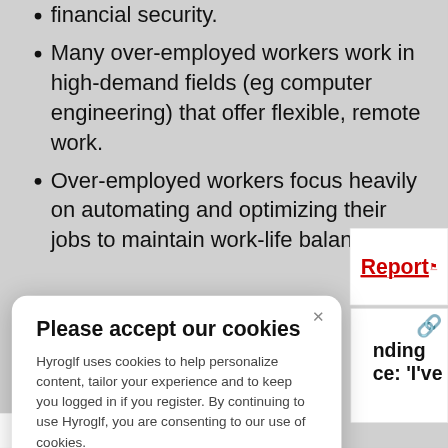financial security.
Many over-employed workers work in high-demand fields (eg computer engineering) that offer flexible, remote work.
Over-employed workers focus heavily on automating and optimizing their jobs to maintain work-life balance.
Please accept our cookies
Hyroglf uses cookies to help personalize content, tailor your experience and to keep you logged in if you register. By continuing to use Hyroglf, you are consenting to our use of cookies.
Cookie Policy    Accept Cookies
Report
nding ce: 'I've
The Athletic (07/14/2022)